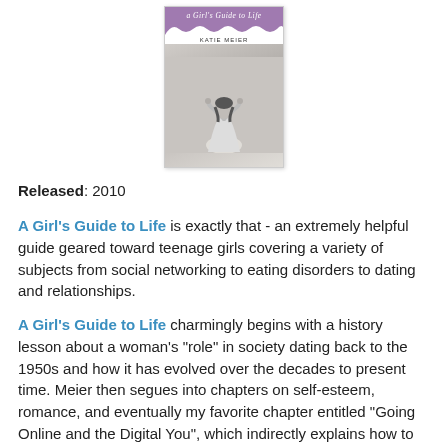[Figure (illustration): Book cover of 'A Girl's Guide to Life' by Katie Meier. Purple top with title in italic script, wavy border, author name, and a black-and-white photo of a girl from behind with arms raised.]
Released: 2010
A Girl's Guide to Life is exactly that - an extremely helpful guide geared toward teenage girls covering a variety of subjects from social networking to eating disorders to dating and relationships.
A Girl's Guide to Life charmingly begins with a history lesson about a woman's "role" in society dating back to the 1950s and how it has evolved over the decades to present time. Meier then segues into chapters on self-esteem, romance, and eventually my favorite chapter entitled "Going Online and the Digital You", which indirectly explains how to be tactful and appropriate when texting and using social media